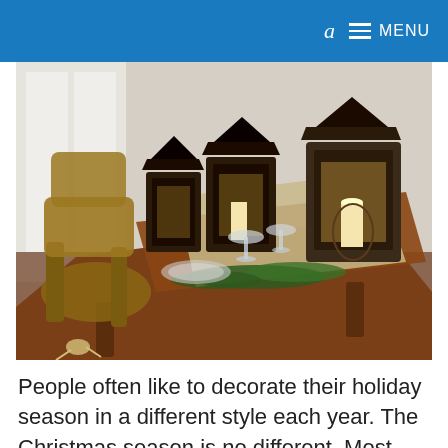a  ≡  MENU
[Figure (photo): A holiday-decorated dining table with wooden chairs, a burlap table runner, wine glasses, plates, greenery, and multiple black metal lanterns with candles as centerpieces in a bright room.]
People often like to decorate their holiday season in a different style each year. The Christmas season is no different. Most people choose to decorate their home in the winter time while there are also some who like to